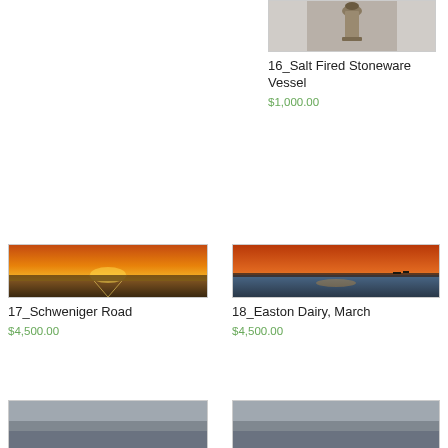[Figure (photo): Top portion of a ceramic stoneware vessel on gray background]
16_Salt Fired Stoneware Vessel
$1,000.00
[Figure (photo): Panoramic landscape painting with warm orange sunset tones - Schweniger Road]
17_Schweniger Road
$4,500.00
[Figure (photo): Panoramic landscape painting with orange sunset and water - Easton Dairy March]
18_Easton Dairy, March
$4,500.00
[Figure (photo): Partial view of bottom painting - gray tones]
[Figure (photo): Partial view of bottom painting - gray tones]